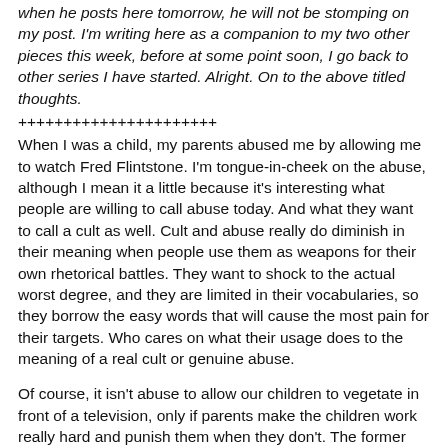when he posts here tomorrow, he will not be stomping on my post. I'm writing here as a companion to my two other pieces this week, before at some point soon, I go back to other series I have started. Alright. On to the above titled thoughts.
++++++++++++++++++++++
When I was a child, my parents abused me by allowing me to watch Fred Flintstone. I'm tongue-in-cheek on the abuse, although I mean it a little because it's interesting what people are willing to call abuse today. And what they want to call a cult as well. Cult and abuse really do diminish in their meaning when people use them as weapons for their own rhetorical battles. They want to shock to the actual worst degree, and they are limited in their vocabularies, so they borrow the easy words that will cause the most pain for their targets. Who cares on what their usage does to the meaning of a real cult or genuine abuse.
Of course, it isn't abuse to allow our children to vegetate in front of a television, only if parents make the children work really hard and punish them when they don't. The former might qualify you as a vegetable, not abuse, but the latter will make you a hard working, successful, and productive